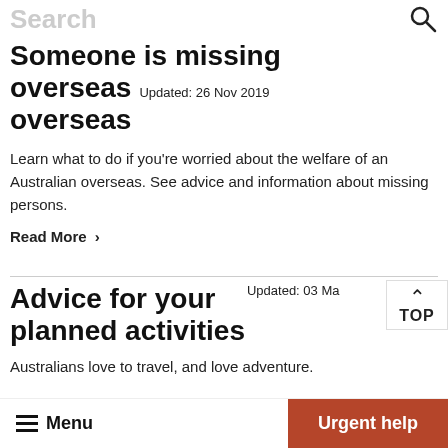Search
Someone is missing overseas  Updated: 26 Nov 2019
Learn what to do if you're worried about the welfare of an Australian overseas. See advice and information about missing persons.
Read More >
Advice for your planned activities  Updated: 03 Ma
Australians love to travel, and love adventure.
Menu  Urgent help